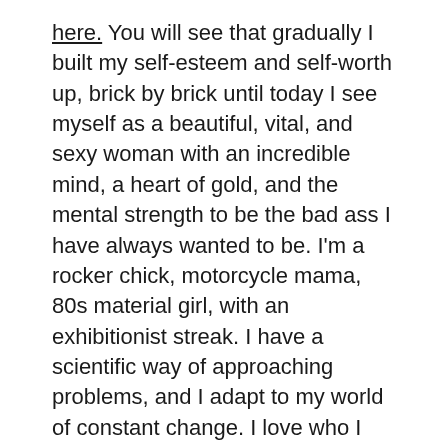here. You will see that gradually I built my self-esteem and self-worth up, brick by brick until today I see myself as a beautiful, vital, and sexy woman with an incredible mind, a heart of gold, and the mental strength to be the bad ass I have always wanted to be. I'm a rocker chick, motorcycle mama, 80s material girl, with an exhibitionist streak. I have a scientific way of approaching problems, and I adapt to my world of constant change. I love who I am now, and am looking forward to learning and growing more in the future.
Thank goodness the plus size market and the size inclusivity market is coming into its own these days. Clothing has become my hobby as well as my life line for my self-esteem. I love mixing and matching. I love looking at what others are wearing and not only copying, but trying to do one better. I love looking at a big old closet full of clothes and being able to pick what I want to